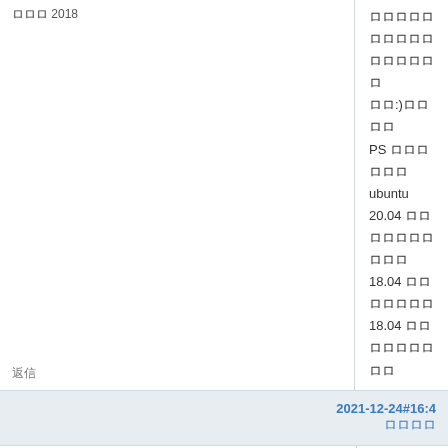ロロロ 2018
ロロロロロロロロロロロロロロロロ
ロロ:)ロロロロ
PS ロロロロロロ
ubuntu 20.04 ロロロロロロロロロロ
18.04 ロロロロロロロ
18.04 ロロロロロロロロロ
返信
2021-12-24#16:4 ロロロロ
642242855
会員
[Figure (photo): Galaxy/nebula space image avatar]
登録日時 2019-10-31
投稿数 189
いいね 116
返信
@hox ロロロロロロロロロロロロロロロロ
21.04ロロロ18ロ